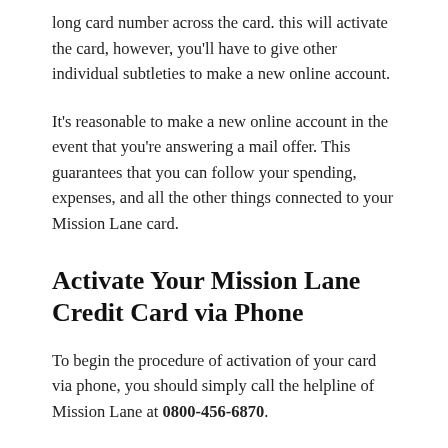long card number across the card. this will activate the card, however, you'll have to give other individual subtleties to make a new online account.
It's reasonable to make a new online account in the event that you're answering a mail offer. This guarantees that you can follow your spending, expenses, and all the other things connected to your Mission Lane card.
Activate Your Mission Lane Credit Card via Phone
To begin the procedure of activation of your card via phone, you should simply call the helpline of Mission Lane at 0800-456-6870.